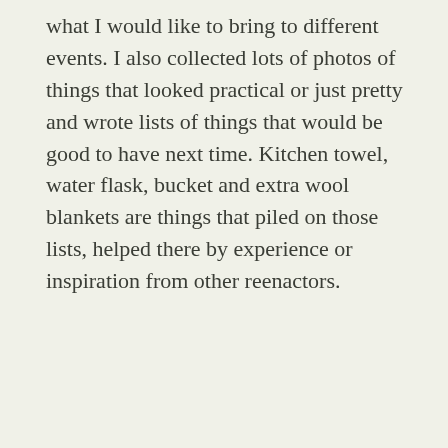what I would like to bring to different events. I also collected lots of photos of things that looked practical or just pretty and wrote lists of things that would be good to have next time. Kitchen towel, water flask, bucket and extra wool blankets are things that piled on those lists, helped there by experience or inspiration from other reenactors.